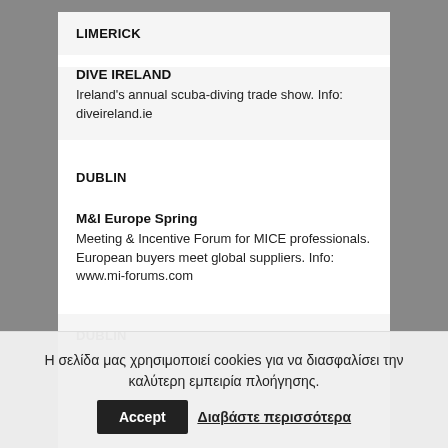LIMERICK
DIVE IRELAND
Ireland's annual scuba-diving trade show. Info: diveireland.ie
DUBLIN
M&I Europe Spring
Meeting & Incentive Forum for MICE professionals. European buyers meet global suppliers. Info: www.mi-forums.com
DUBLIN
Η σελίδα μας χρησιμοποιεί cookies για να διασφαλίσει την καλύτερη εμπειρία πλοήγησης.